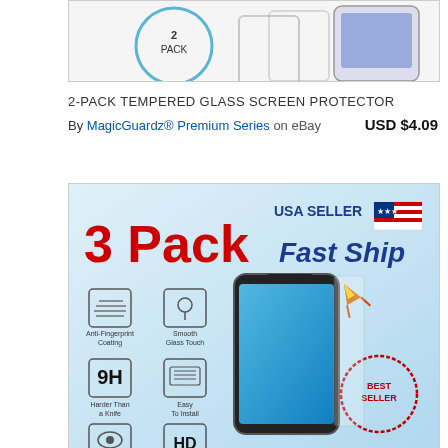[Figure (photo): Product image of 2-pack tempered glass screen protector, partially visible at top]
2-PACK TEMPERED GLASS SCREEN PROTECTOR
By MagicGuardz® Premium Series on eBay   USD $4.09
[Figure (photo): Product listing image for 3 Pack screen protector - USA SELLER Fast Ship, showing features: Anti-Fingerprint Coating, Smooth Glass Touch, 9H Harder Than a Knife, Easy To Install, 99.9% Transparency, Ultra HD Clarity, BESTSELLER stamp]